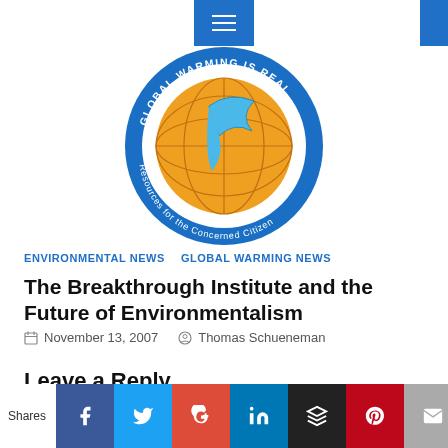Global Warming Is Real - hamburger nav menu header
[Figure (logo): Global Warming Is Real circular logo with globe and bird, text: GLOBAL WARMING IS REAL, Resources for the Concerned Citizen]
ENVIRONMENTAL NEWS   GLOBAL WARMING NEWS
The Breakthrough Institute and the Future of Environmentalism
November 13, 2007   Thomas Schueneman
Leave a Reply
Your email address will not be published. Required fields
Shares  [Facebook] [Twitter] [G+] [LinkedIn] [Buffer] [Pinterest] [Email]